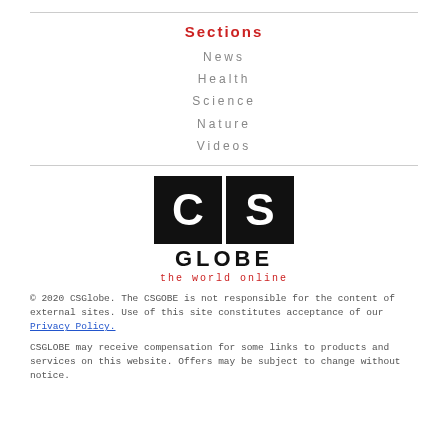Sections
News
Health
Science
Nature
Videos
[Figure (logo): CS Globe logo — two black squares with white letters C and S, below them GLOBE in bold black, tagline 'the world online' in red monospace]
© 2020 CSGlobe. The CSGOBE is not responsible for the content of external sites. Use of this site constitutes acceptance of our Privacy Policy.
CSGLOBE may receive compensation for some links to products and services on this website. Offers may be subject to change without notice.